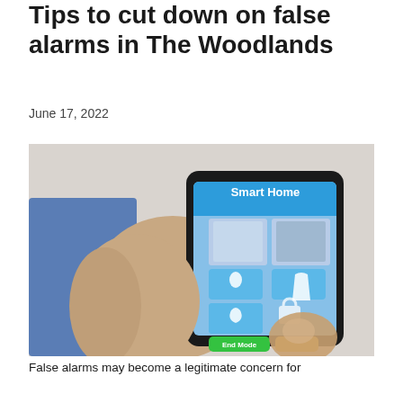Tips to cut down on false alarms in The Woodlands
June 17, 2022
[Figure (photo): A person holding a smartphone displaying a Smart Home security application interface with multiple control tiles including lighting, camera, temperature, locks, and water controls, with green and orange action buttons at the bottom.]
False alarms may become a legitimate concern for